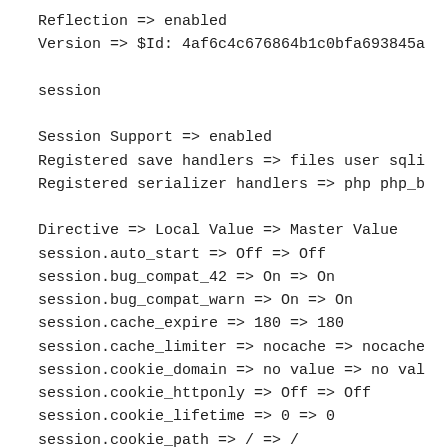Reflection => enabled
Version => $Id: 4af6c4c676864b1c0bfa693845a
session
Session Support => enabled
Registered save handlers => files user sqli
Registered serializer handlers => php php_b
Directive => Local Value => Master Value
session.auto_start => Off => Off
session.bug_compat_42 => On => On
session.bug_compat_warn => On => On
session.cache_expire => 180 => 180
session.cache_limiter => nocache => nocache
session.cookie_domain => no value => no val
session.cookie_httponly => Off => Off
session.cookie_lifetime => 0 => 0
session.cookie_path => / => /